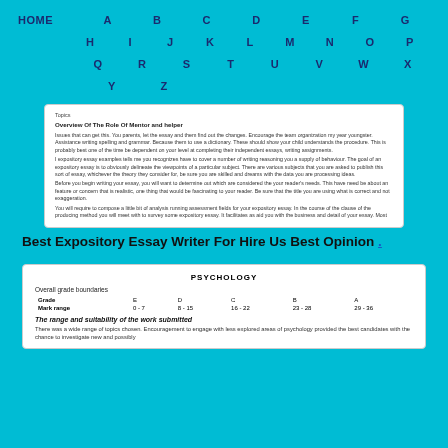HOME  A  B  C  D  E  F  G  H  I  J  K  L  M  N  O  P  Q  R  S  T  U  V  W  X  Y  Z
[Figure (screenshot): Screenshot of a document page showing 'Overview Of The Role Of Mentor and helper' with several paragraphs of body text about expository essays.]
Best Expository Essay Writer For Hire Us Best Opinion .
[Figure (table-as-image): Psychology grade boundaries table and suitability section]
| Grade | E | D | C | B | A |
| --- | --- | --- | --- | --- | --- |
| Mark range | 0 - 7 | 8 - 15 | 16 - 22 | 23 - 28 | 29 - 36 |
The range and suitability of the work submitted
There was a wide range of topics chosen. Encouragement to engage with less explored areas of psychology provided the best candidates with the chance to investigate new and possibly